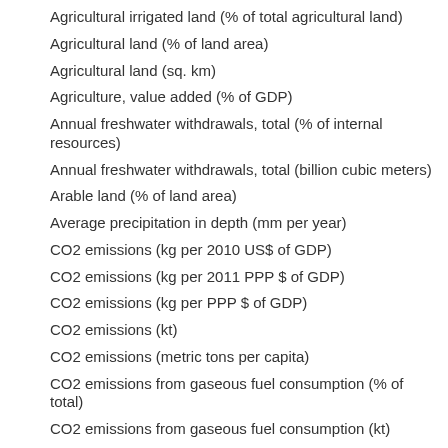Agricultural irrigated land (% of total agricultural land)
Agricultural land (% of land area)
Agricultural land (sq. km)
Agriculture, value added (% of GDP)
Annual freshwater withdrawals, total (% of internal resources)
Annual freshwater withdrawals, total (billion cubic meters)
Arable land (% of land area)
Average precipitation in depth (mm per year)
CO2 emissions (kg per 2010 US$ of GDP)
CO2 emissions (kg per 2011 PPP $ of GDP)
CO2 emissions (kg per PPP $ of GDP)
CO2 emissions (kt)
CO2 emissions (metric tons per capita)
CO2 emissions from gaseous fuel consumption (% of total)
CO2 emissions from gaseous fuel consumption (kt)